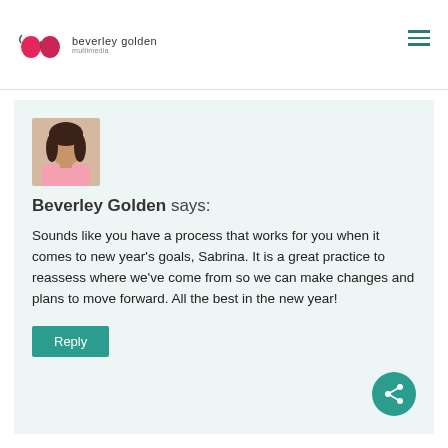beverley golden multimedi
[Figure (photo): Profile photo of Beverley Golden, a woman with dark hair wearing a pink top]
Beverley Golden says:
Sounds like you have a process that works for you when it comes to new year's goals, Sabrina. It is a great practice to reassess where we've come from so we can make changes and plans to move forward. All the best in the new year!
Reply